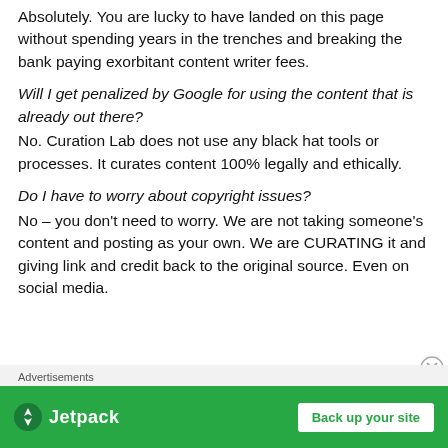Absolutely. You are lucky to have landed on this page without spending years in the trenches and breaking the bank paying exorbitant content writer fees.
Will I get penalized by Google for using the content that is already out there?
No. Curation Lab does not use any black hat tools or processes. It curates content 100% legally and ethically.
Do I have to worry about copyright issues?
No – you don't need to worry. We are not taking someone's content and posting as your own. We are CURATING it and giving link and credit back to the original source. Even on social media.
[Figure (screenshot): Jetpack advertisement banner with green background, Jetpack logo on left and 'Back up your site' button on right, with 'Advertisements' label above.]